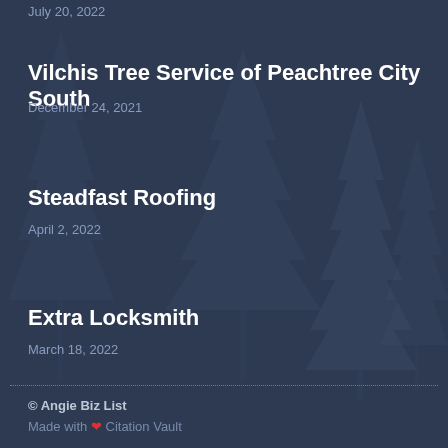July 20, 2022 (partial, cut off at top)
Vilchis Tree Service of Peachtree City South
December 24, 2021
Steadfast Roofing
April 2, 2022
Extra Locksmith
March 18, 2022
© Angie Biz List
Made with ❤ Citation Vault